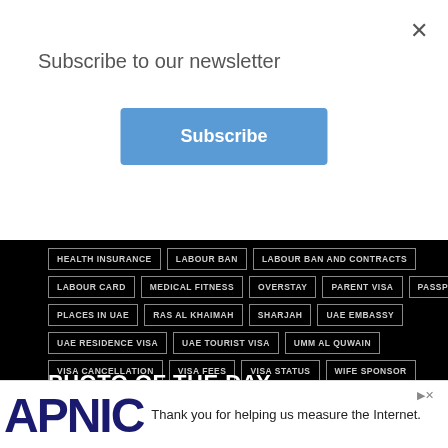Subscribe to our newsletter
×
Subscribe
HEALTH INSURANCE
LABOUR BAN
LABOUR BAN AND CONTRACTS
LABOUR CARD
MEDICAL FITNESS
OVERSTAY
PARENT VISA
PASSPORT
PLACES IN UAE
RAS AL KHAIMAH
SHARJAH
UAE EMBASSY
UAE RESIDENCE VISA
UAE TOURIST VISA
UMM AL QUWAIN
VISA CANCELLATION
VISA FEES
VISA STATUS
WIFE SPONSOR
PHOTO OF THE DAY
Abu Dhabi's Qasr Al Watan - Palace i
tion
Thank you for helping us measure the Internet.